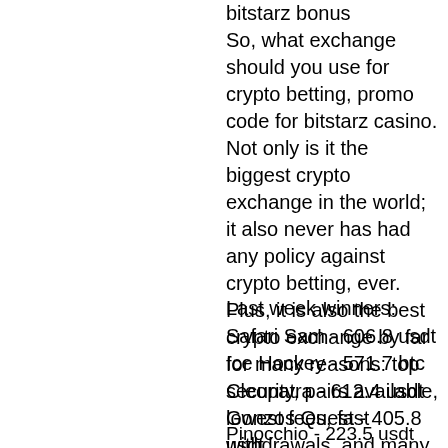bitstarz bonus So, what exchange should you use for crypto betting, promo code for bitstarz casino. Not only is it the biggest crypto exchange in the world; it also never has had any policy against crypto betting, ever. Plus, it is also the best crypto exchange by far for many reasons: top security, pairs available, lowest fees, fast withdrawals, and many more. By using Binance, you can deposit and place crypto bets on your favorite cryptocurrency betting site almost instantly.
Last week winners:
Safari Sam - 606.8 usdt
Ice Hockey - 571.7 btc
Cleopatra - 612.4 usdt
Gonzos Quest - 405.8 usdt
Pinocchio - 223.5 usdt
Motorhead - 524.2 btc